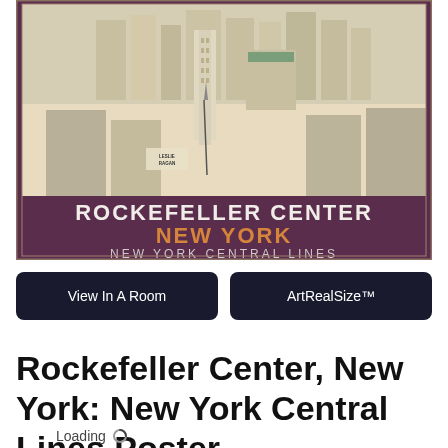[Figure (illustration): Vintage travel poster showing an aerial isometric view of Rockefeller Center in New York City. Buildings are rendered in cream and tan tones on a dark maroon/purple background. Text on poster reads: 'ROCKEFELLER CENTER NEW YORK NEW YORK CENTRAL LINES'. The artist signature 'LESLIE RAGAN' is visible in the illustration.]
View In A Room
ArtRealSize™
Rockefeller Center, New York: New York Central Lines Poster
Loading